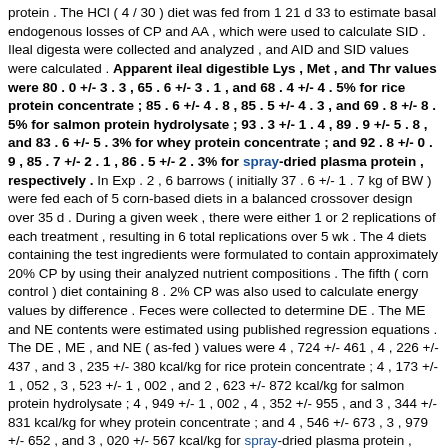protein . The HCl ( 4 / 30 ) diet was fed from 1 21 d 33 to estimate basal endogenous losses of CP and AA , which were used to calculate SID . Ileal digesta were collected and analyzed , and AID and SID values were calculated . Apparent ileal digestible Lys , Met , and Thr values were 80 . 0 +/- 3 . 3 , 65 . 6 +/- 3 . 1 , and 68 . 4 +/- 4 . 5% for rice protein concentrate ; 85 . 6 +/- 4 . 8 , 85 . 5 +/- 4 . 3 , and 69 . 8 +/- 8 . 5% for salmon protein hydrolysate ; 93 . 3 +/- 1 . 4 , 89 . 9 +/- 5 . 8 , and 83 . 6 +/- 5 . 3% for whey protein concentrate ; and 92 . 8 +/- 0 . 9 , 85 . 7 +/- 2 . 1 , 86 . 5 +/- 2 . 3% for spray-dried plasma protein , respectively . In Exp . 2 , 6 barrows ( initially 37 . 6 +/- 1 . 7 kg of BW ) were fed each of 5 corn-based diets in a balanced crossover design over 35 d . During a given week , there were either 1 or 2 replications of each treatment , resulting in 6 total replications over 5 wk . The 4 diets containing the test ingredients were formulated to contain approximately 20% CP by using their analyzed nutrient compositions . The fifth ( corn control ) diet containing 8 . 2% CP was also used to calculate energy values by difference . Feces were collected to determine DE . The ME and NE contents were estimated using published regression equations . The DE , ME , and NE ( as-fed ) values were 4 , 724 +/- 461 , 4 , 226 +/- 437 , and 3 , 235 +/- 380 kcal/kg for rice protein concentrate ; 4 , 173 +/- 1 , 052 , 3 , 523 +/- 1 , 002 , and 2 , 623 +/- 872 kcal/kg for salmon protein hydrolysate ; 4 , 949 +/- 1 , 002 , 4 , 352 +/- 955 , and 3 , 344 +/- 831 kcal/kg for whey protein concentrate ; and 4 , 546 +/- 673 , 3 , 979 +/- 652 , and 3 , 020 +/- 567 kcal/kg for spray-dried plasma protein , respectively . The excellent AA digestibility and relatively high DE , ME , and NE values indicate that these protein sources warrant further investigation as ingredients for growing pig diets . [ Sen. 16, subscore: 1.00 ]: Ileal digesta were collected and analyzed , and AID and SID values were calculated . Apparent ileal digestible Lys , Met , and Thr values were 80 . 0 +/- 3 . 3 , 65 . 6 +/- 3 . 1 , and 68 . 4 +/- 4 . 5% for rice protein concentrate ; 85 . 6 +/- 4 . 8 , 85 . 5 +/- 4 . 3 , and